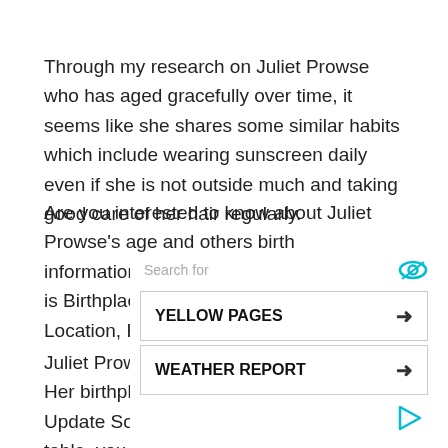Through my research on Juliet Prowse who has aged gracefully over time, it seems like she shares some similar habits which include wearing sunscreen daily even if she is not outside much and taking good care of her hair regularly.
Are you interested to know about Juliet Prowse's age and others birth information? In this section, we will reveal is Birthplace, Birthday, Age, Current Location, Hometown, etc.
Juliet Prowse was born on 1936-09-25. Her birthplace is Bombay. Juliet Prowse is Update Soon years old in 2022. Below the table, you can find all the information about her . . . .
[Figure (other): Advertisement overlay with 'Search for' label and eye icon, two search buttons: YELLOW PAGES and WEATHER REPORT with arrows, and a play icon at bottom right.]